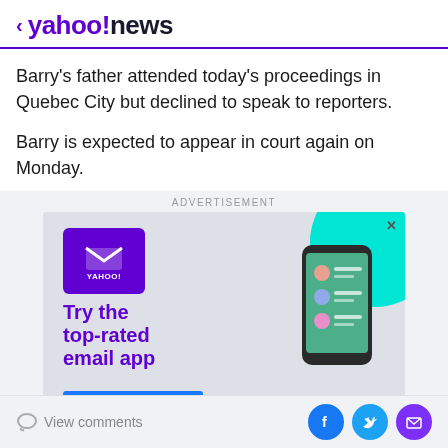< yahoo!news
Barry's father attended today's proceedings in Quebec City but declined to speak to reporters.
Barry is expected to appear in court again on Monday.
[Figure (advertisement): Yahoo Mail advertisement: 'Try the top-rated email app' with purple Yahoo icon, teal circle decoration, and a hand holding a smartphone displaying the mail app]
View comments | Facebook, Twitter, Mail social share icons